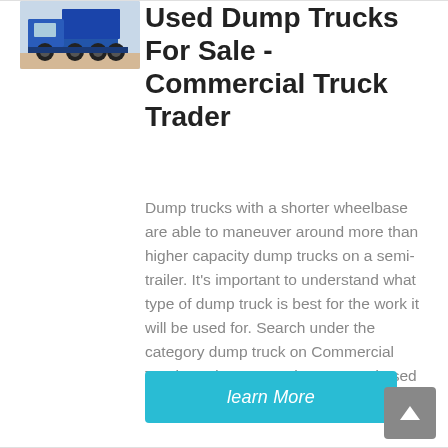[Figure (photo): Blue dump truck parked on a dirt area, side/front view]
Used Dump Trucks For Sale - Commercial Truck Trader
Dump trucks with a shorter wheelbase are able to maneuver around more than higher capacity dump trucks on a semi-trailer. It's important to understand what type of dump truck is best for the work it will be used for. Search under the category dump truck on Commercial Truck Trader to see what new and used options are currently for sale.
learn More